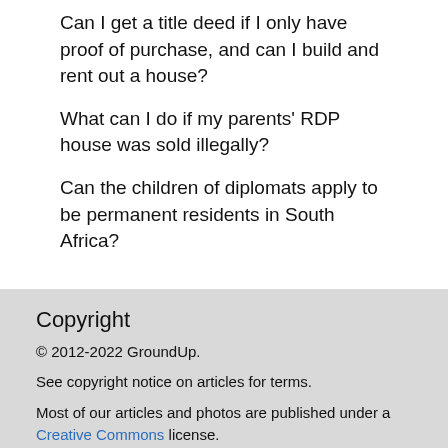Can I get a title deed if I only have proof of purchase, and can I build and rent out a house?
What can I do if my parents' RDP house was sold illegally?
Can the children of diplomats apply to be permanent residents in South Africa?
Copyright
© 2012-2022 GroundUp.
See copyright notice on articles for terms.
Most of our articles and photos are published under a Creative Commons license.
Useful links
Copyright policy
Privacy